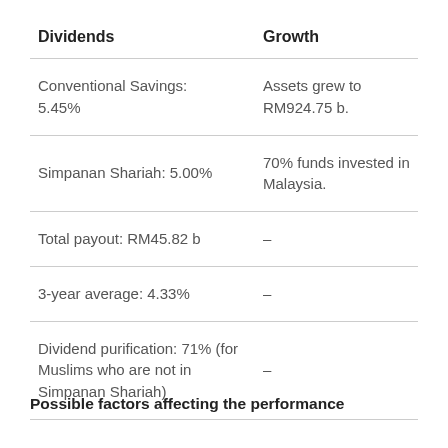| Dividends | Growth |
| --- | --- |
| Conventional Savings: 5.45% | Assets grew to RM924.75 b. |
| Simpanan Shariah: 5.00% | 70% funds invested in Malaysia. |
| Total payout: RM45.82 b | – |
| 3-year average: 4.33% | – |
| Dividend purification: 71% (for Muslims who are not in Simpanan Shariah) | – |
Possible factors affecting the performance